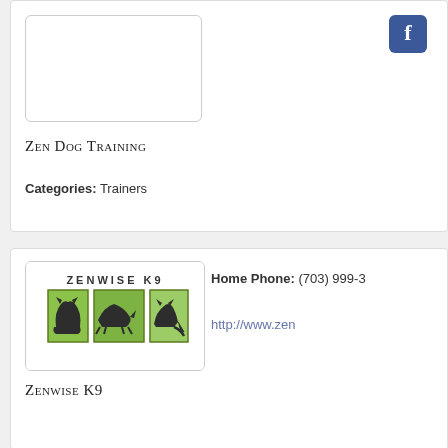[Figure (logo): Empty logo placeholder box with rounded border for Zen Dog Training]
Zen Dog Training
[Figure (logo): Facebook icon - blue rounded square with white F]
Categories: Trainers
[Figure (logo): Zenwise K9 logo showing cat silhouettes in green panels with text ZENWISE K9]
Zenwise K9
Home Phone: (703) 999-3
http://www.zen